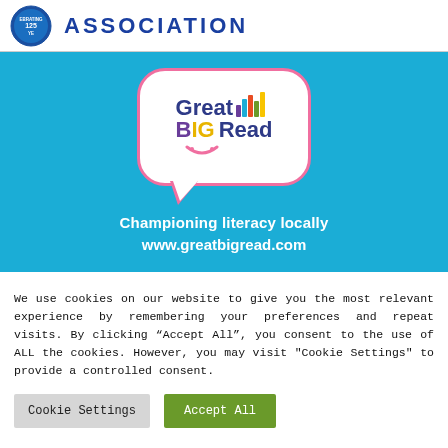[Figure (logo): Header with circular badge logo showing 'EBRATING 125 YE' text and 'ASSOCIATION' text in bold blue letters]
[Figure (logo): Great BIG Read logo inside a speech bubble with pink border on blue background. Text: 'Great BIG Read' with colorful bar chart icons. Tagline: 'Championing literacy locally' and 'www.greatbigread.com']
We use cookies on our website to give you the most relevant experience by remembering your preferences and repeat visits. By clicking “Accept All”, you consent to the use of ALL the cookies. However, you may visit "Cookie Settings" to provide a controlled consent.
Cookie Settings   Accept All